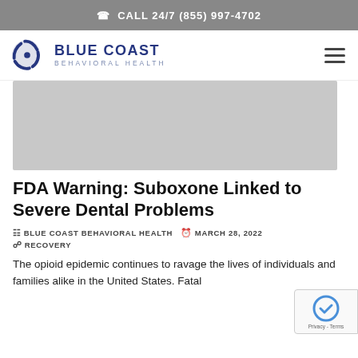☎ CALL 24/7 (855) 997-4702
[Figure (logo): Blue Coast Behavioral Health logo with swirl icon and organization name]
[Figure (photo): Gray placeholder hero image for the article]
FDA Warning: Suboxone Linked to Severe Dental Problems
BLUE COAST BEHAVIORAL HEALTH   MARCH 28, 2022
RECOVERY
The opioid epidemic continues to ravage the lives of individuals and families alike in the United States. Fatal